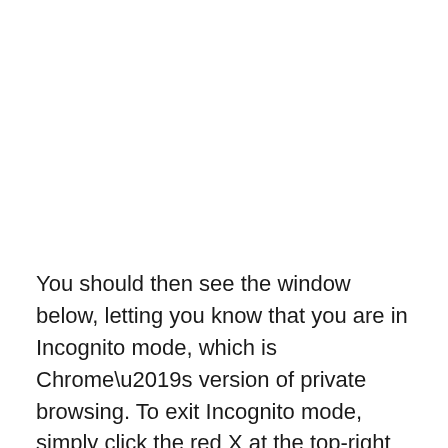You should then see the window below, letting you know that you are in Incognito mode, which is Chrome’s version of private browsing. To exit Incognito mode, simply click the red X at the top-right of the window to close it.